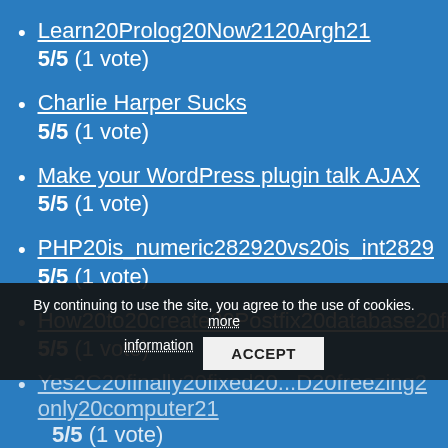Learn20Prolog20Now2120Argh21
5/5 (1 vote)
Charlie Harper Sucks
5/5 (1 vote)
Make your WordPress plugin talk AJAX
5/5 (1 vote)
PHP20is_numeric282920vs20is_int2829
5/5 (1 vote)
How20to20create20Postfix20database20files
5/5 (1 vote)
By continuing to use the site, you agree to the use of cookies. more information
Yes2C20finally20fixed20...D20freezing2 only20computer21
5/5 (1 vote)